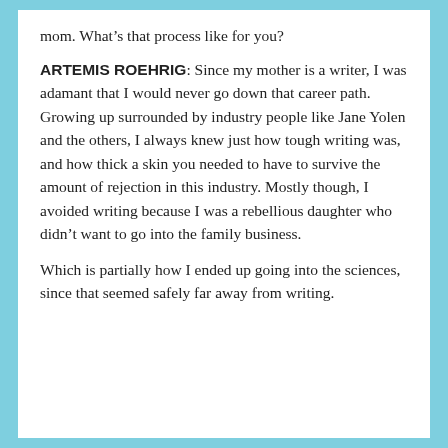mom. What's that process like for you?
ARTEMIS ROEHRIG: Since my mother is a writer, I was adamant that I would never go down that career path. Growing up surrounded by industry people like Jane Yolen and the others, I always knew just how tough writing was, and how thick a skin you needed to have to survive the amount of rejection in this industry. Mostly though, I avoided writing because I was a rebellious daughter who didn't want to go into the family business.
Which is partially how I ended up going into the sciences, since that seemed safely far away from writing.